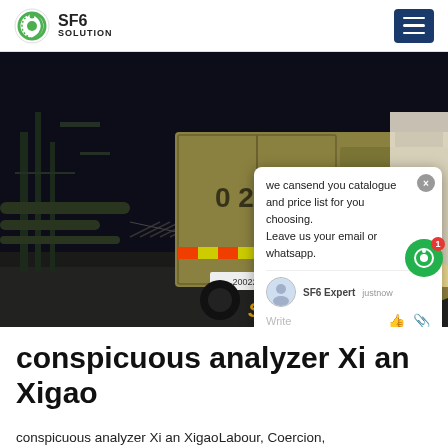SF6 SOLUTION
[Figure (photo): Night-time photo of a large yellow truck/freight vehicle at an industrial electrical substation. Overlaid chat popup says: 'we cansend you catalogue and price list for you choosing. Leave us your email or whatsapp.' with SF6 Expert agent and 'justnow' timestamp. SF6China watermark in orange-yellow at bottom right.]
conspicuous analyzer Xi an Xigao
conspicuous analyzer Xi an XigaoLabour, Coercion,